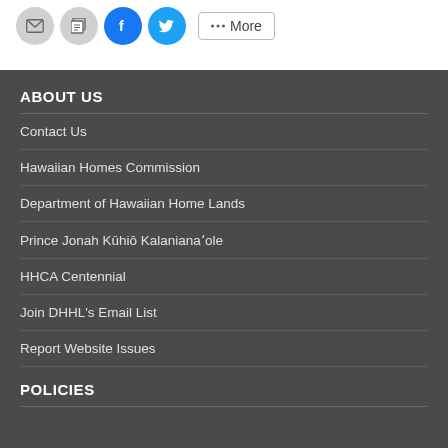[Figure (screenshot): Social share buttons: email, print, Facebook, Twitter, and More]
ABOUT US
Contact Us
Hawaiian Homes Commission
Department of Hawaiian Home Lands
Prince Jonah Kūhiō Kalanianaʻole
HHCA Centennial
Join DHHL's Email List
Report Website Issues
POLICIES